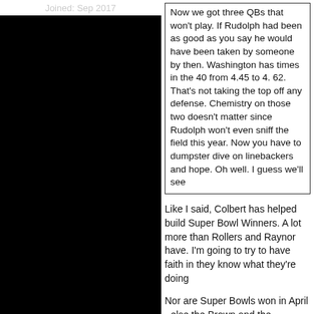Joined: Sep 2017
Now we got three QBs that won't play.  If Rudolph had been as good as you say he would have been taken by someone by then.  Washington has times in the 40 from 4.45 to 4. 62.  That's not taking the top off any defense.  Chemistry on those two doesn't matter since Rudolph won't even sniff the field this year.  Now you have to dumpster dive on linebackers and hope.  Oh well.  I guess we'll see
Like I said, Colbert has helped build Super Bowl Winners.  A lot more than Rollers and Raynor have.   I'm going to try to have faith in they know what they're doing
Nor are Super Bowls won in April - else the Brown and the Redskins would be the all time